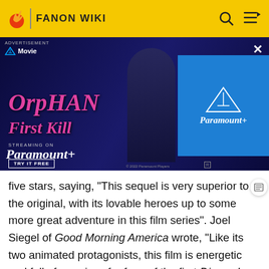FANON WIKI
[Figure (screenshot): Advertisement banner for Orphan: First Kill streaming on Paramount+. Shows movie title in pink italic text, a dark-haired person, and Paramount+ logo on blue background. Includes 'TRY IT FREE' button.]
five stars, saying, "This sequel is very superior to the original, with its lovable heroes up to some more great adventure in this film series". Joel Siegel of Good Morning America wrote, "Like its two animated protagonists, this film is energetic and full of surprises for fans of the first Disney In The House". He considered the film to be as good as other animated films released in 2025.